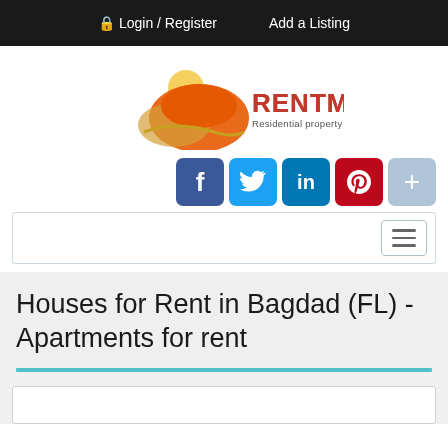Login / Register   Add a Listing
[Figure (logo): RENTMLS logo - orange and tan sun/mountain graphic with text RENTMLS and tagline Residential property for Rent]
[Figure (infographic): Social media share buttons: Facebook (f), Twitter (bird), LinkedIn (in), Pinterest (P), plus (+)]
[Figure (screenshot): Navigation search bar with hamburger menu icon on the right]
Houses for Rent in Bagdad (FL) - Apartments for rent